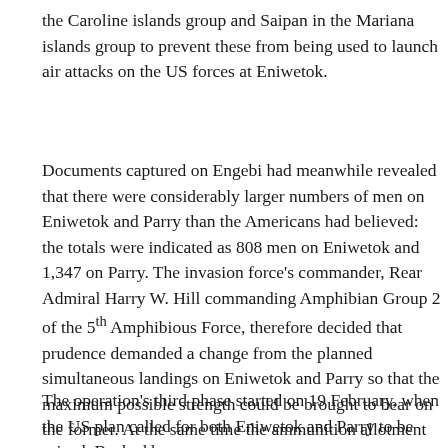the Caroline islands group and Saipan in the Mariana islands group to prevent these from being used to launch air attacks on the US forces at Eniwetok.
Documents captured on Engebi had meanwhile revealed that there were considerably larger numbers of men on Eniwetok and Parry than the Americans had believed: the totals were indicated as 808 men on Eniwetok and 1,347 on Parry. The invasion force's commander, Rear Admiral Harry W. Hill commanding Amphibian Group 2 of the 5th Amphibious Force, therefore decided that prudence demanded a change from the planned simultaneous landings on Eniwetok and Parry so that the maximum possible strength could be brought to bear on the former. At the same time the ammunition allotment for the preliminary gunfire bombardment was also doubled.
The operation's third phase started on 19 February, when the US plan called for both Eniwetok and Parry to be seized. Backed by a